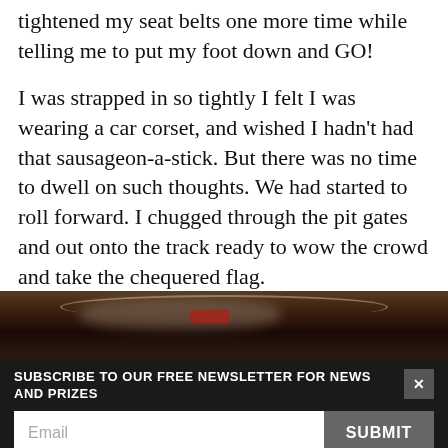tightened my seat belts one more time while telling me to put my foot down and GO!
I was strapped in so tightly I felt I was wearing a car corset, and wished I hadn't had that sausageon-a-stick. But there was no time to dwell on such thoughts. We had started to roll forward. I chugged through the pit gates and out onto the track ready to wow the crowd and take the chequered flag.
[Figure (photo): Dark photo strip showing interior of a racing car, with chrome steering wheel elements and a red indicator light visible]
SUBSCRIBE TO OUR FREE NEWSLETTER FOR NEWS AND PRIZES
Email
SUBMIT
3 FREE ARTICLES LEFT
Subscribe for £1 | Sign in